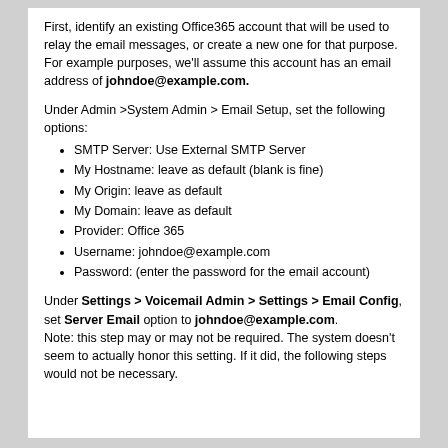First, identify an existing Office365 account that will be used to relay the email messages, or create a new one for that purpose. For example purposes, we'll assume this account has an email address of johndoe@example.com.
Under Admin >System Admin > Email Setup, set the following options:
SMTP Server: Use External SMTP Server
My Hostname: leave as default (blank is fine)
My Origin: leave as default
My Domain: leave as default
Provider: Office 365
Username: johndoe@example.com
Password: (enter the password for the email account)
Under Settings > Voicemail Admin > Settings > Email Config, set Server Email option to johndoe@example.com. Note: this step may or may not be required. The system doesn't seem to actually honor this setting. If it did, the following steps would not be necessary.